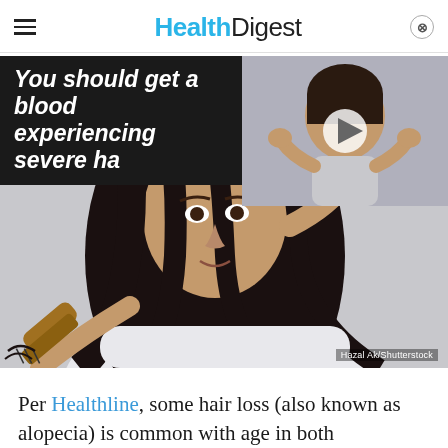Health Digest
You should get a blood test if experiencing severe ha
[Figure (photo): Woman looking distressed holding a hairbrush with hair loss, alongside a video thumbnail of a woman touching her hair]
Hazal Ak/Shutterstock
Per Healthline, some hair loss (also known as alopecia) is common with age in both